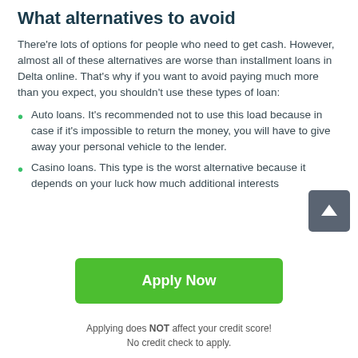What alternatives to avoid
There're lots of options for people who need to get cash. However, almost all of these alternatives are worse than installment loans in Delta online. That's why if you want to avoid paying much more than you expect, you shouldn't use these types of loan:
Auto loans. It's recommended not to use this load because in case if it's impossible to return the money, you will have to give away your personal vehicle to the lender.
Casino loans. This type is the worst alternative because it depends on your luck how much additional interests
Apply Now
Applying does NOT affect your credit score!
No credit check to apply.